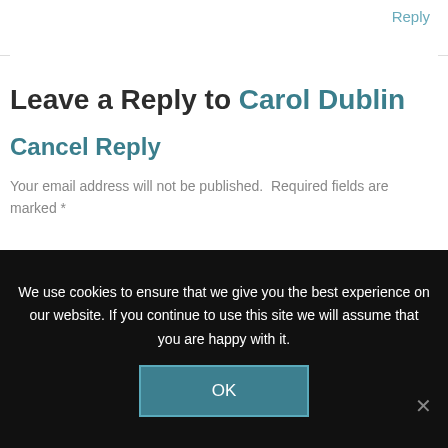Reply
Leave a Reply to Carol Dublin
Cancel Reply
Your email address will not be published. Required fields are marked *
Type here..
We use cookies to ensure that we give you the best experience on our website. If you continue to use this site we will assume that you are happy with it.
OK